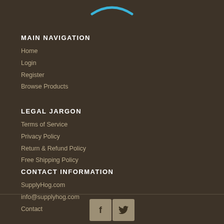[Figure (logo): SupplyHog logo partial - blue curved smile/swoosh element visible at top]
MAIN NAVIGATION
Home
Login
Register
Browse Products
LEGAL JARGON
Terms of Service
Privacy Policy
Return & Refund Policy
Free Shipping Policy
CONTACT INFORMATION
SupplyHog.com
info@supplyhog.com
Contact
[Figure (illustration): Social media icons - Facebook and Twitter buttons]